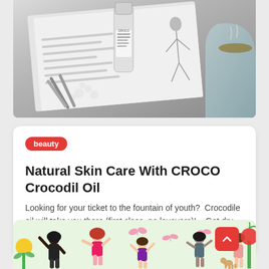[Figure (photo): Flat lay photo of an open magazine, a silver cylindrical skincare product (CROCO), white flowers, pencils, and a coffee cup on a light background, in black and white tones.]
beauty
Natural Skin Care With CROCO Crocodil Oil
Looking for your ticket to the fountain of youth?  Crocodile oil will take you there (first class, no layovers)!    Got dry…
by Deria · 19 August
[Figure (illustration): Colorful illustration of multiple women dancing and celebrating outdoors with butterflies, flowers, and plants on a light green background.]